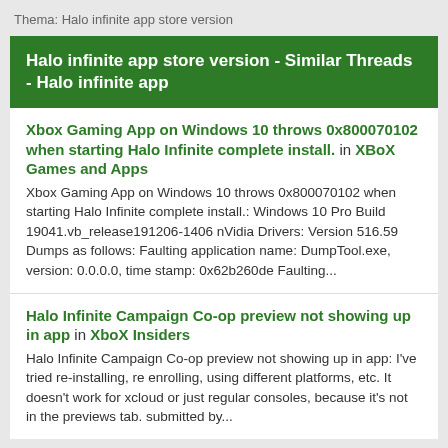Thema: Halo infinite app store version
Halo infinite app store version - Similar Threads - Halo infinite app
Xbox Gaming App on Windows 10 throws 0x800070102 when starting Halo Infinite complete install. in XBoX Games and Apps
Xbox Gaming App on Windows 10 throws 0x800070102 when starting Halo Infinite complete install.: Windows 10 Pro Build 19041.vb_release191206-1406 nVidia Drivers: Version 516.59 Dumps as follows: Faulting application name: DumpTool.exe, version: 0.0.0.0, time stamp: 0x62b260de Faulting...
Halo Infinite Campaign Co-op preview not showing up in app in XboX Insiders
Halo Infinite Campaign Co-op preview not showing up in app: I've tried re-installing, re enrolling, using different platforms, etc. It doesn't work for xcloud or just regular consoles, because it's not in the previews tab. submitted by...